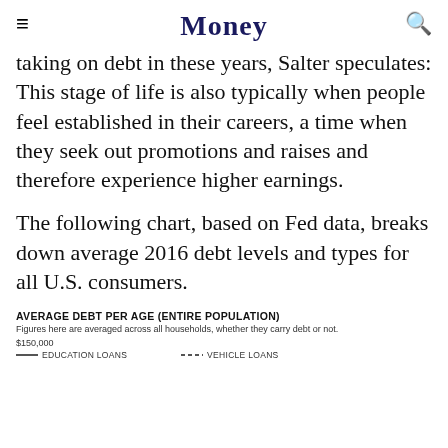Money
taking on debt in these years, Salter speculates: This stage of life is also typically when people feel established in their careers, a time when they seek out promotions and raises and therefore experience higher earnings.
The following chart, based on Fed data, breaks down average 2016 debt levels and types for all U.S. consumers.
[Figure (line-chart): Chart showing average debt per age for the entire population, with lines for Education Loans and Vehicle Loans. Y-axis starts at $150,000.]
Figures here are averaged across all households, whether they carry debt or not.